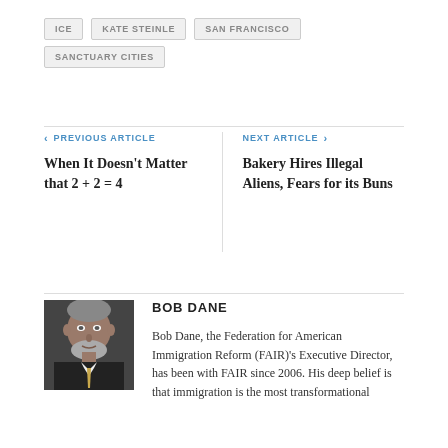ICE
KATE STEINLE
SAN FRANCISCO
SANCTUARY CITIES
< PREVIOUS ARTICLE
When It Doesn't Matter that 2 + 2 = 4
NEXT ARTICLE >
Bakery Hires Illegal Aliens, Fears for its Buns
BOB DANE
Bob Dane, the Federation for American Immigration Reform (FAIR)'s Executive Director, has been with FAIR since 2006. His deep belief is that immigration is the most transformational